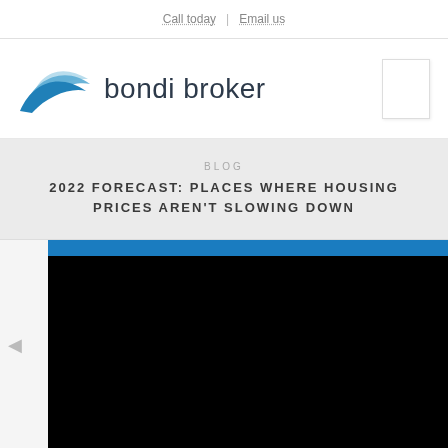Call today | Email us
[Figure (logo): Bondi Broker logo with blue wave icon and text 'bondi broker']
BLOG
2022 FORECAST: PLACES WHERE HOUSING PRICES AREN'T SLOWING DOWN
[Figure (photo): Article header image with blue strip at top and black background below, partial view of a housing/real estate photo]